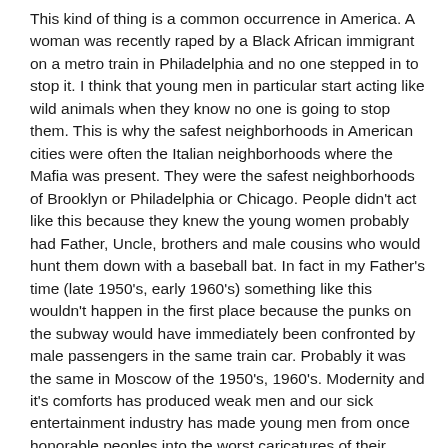This kind of thing is a common occurrence in America. A woman was recently raped by a Black African immigrant on a metro train in Philadelphia and no one stepped in to stop it. I think that young men in particular start acting like wild animals when they know no one is going to stop them. This is why the safest neighborhoods in American cities were often the Italian neighborhoods where the Mafia was present. They were the safest neighborhoods of Brooklyn or Philadelphia or Chicago. People didn't act like this because they knew the young women probably had Father, Uncle, brothers and male cousins who would hunt them down with a baseball bat. In fact in my Father's time (late 1950's, early 1960's) something like this wouldn't happen in the first place because the punks on the subway would have immediately been confronted by male passengers in the same train car. Probably it was the same in Moscow of the 1950's, 1960's. Modernity and it's comforts has produced weak men and our sick entertainment industry has made young men from once honorable peoples into the worst caricatures of their peoples. Think of Conor McGregor who would be just about the worst stereotype of an Irishman. My guess is this is a combination of rap culture, movies, garbage television, consumer capitalism, drugs and alcohol.
It there are plenty of Western male culture is a cut...